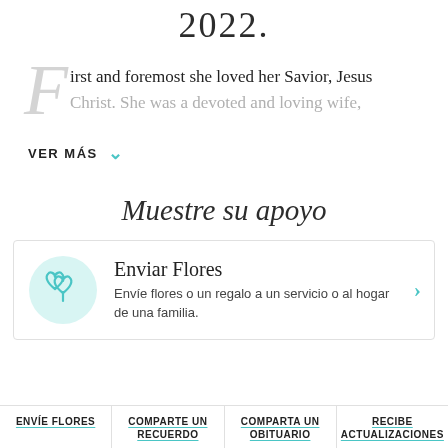2022.
First and foremost she loved her Savior, Jesus Christ. She was a devoted and loving wife,
VER MÁS
Muestre su apoyo
Enviar Flores
Envíe flores o un regalo a un servicio o al hogar de una familia.
ENVÍE FLORES | COMPARTE UN RECUERDO | COMPARTA UN OBITUARIO | RECIBE ACTUALIZACIONES